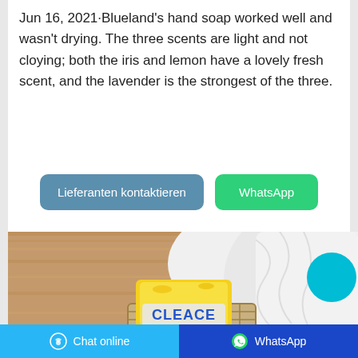Jun 16, 2021·Blueland's hand soap worked well and wasn't drying. The three scents are light and not cloying; both the iris and lemon have a lovely fresh scent, and the lavender is the strongest of the three.
[Figure (screenshot): Two buttons: 'Lieferanten kontaktieren' (blue) and 'WhatsApp' (green)]
[Figure (photo): Photo of a bar of soap labeled 'CLEACE Multipurpose Bar Soap' in a wicker basket with white towels on a wooden surface. A cyan circle UI element overlays the top right of the image.]
Chat online    WhatsApp